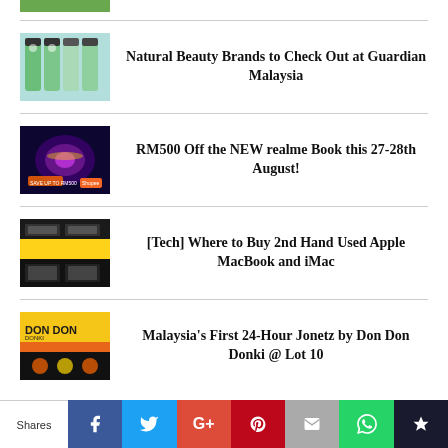[Figure (photo): Partial thumbnail of a beauty/natural product image at top]
Natural Beauty Brands to Check Out at Guardian Malaysia
RM500 Off the NEW realme Book this 27-28th August!
[Tech] Where to Buy 2nd Hand Used Apple MacBook and iMac
Malaysia's First 24-Hour Jonetz by Don Don Donki @ Lot 10
Shares